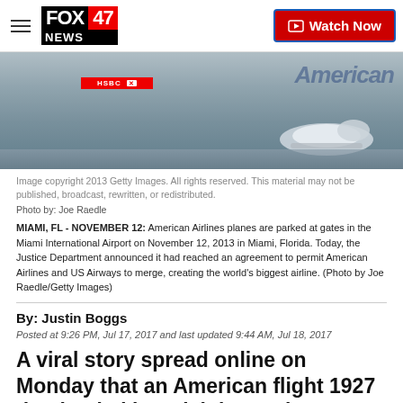FOX 47 NEWS | Watch Now
[Figure (photo): American Airlines planes parked at gates in Miami International Airport, with an HSBC branded jet bridge visible. An American Airlines aircraft is seen on the right side of the image.]
Image copyright 2013 Getty Images. All rights reserved. This material may not be published, broadcast, rewritten, or redistributed.
Photo by: Joe Raedle
MIAMI, FL - NOVEMBER 12: American Airlines planes are parked at gates in the Miami International Airport on November 12, 2013 in Miami, Florida. Today, the Justice Department announced it had reached an agreement to permit American Airlines and US Airways to merge, creating the world’s biggest airline. (Photo by Joe Raedle/Getty Images)
By: Justin Boggs
Posted at 9:26 PM, Jul 17, 2017 and last updated 9:44 AM, Jul 18, 2017
A viral story spread online on Monday that an American flight 1927 that landed in Raleigh, North